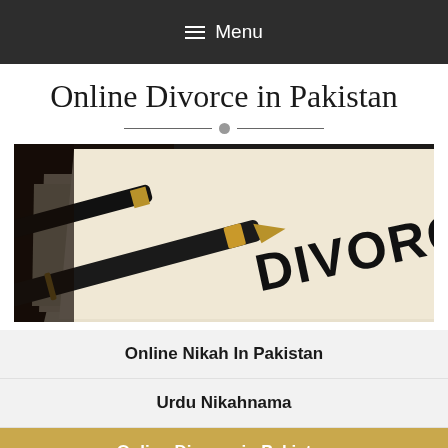≡ Menu
Online Divorce in Pakistan
[Figure (photo): Close-up photo of a document stamped with 'DIVORCE' in large black letters, with a black and gold fountain pen resting on top, on a dark background]
Online Nikah In Pakistan
Urdu Nikahnama
Online Divorce in Pakistan